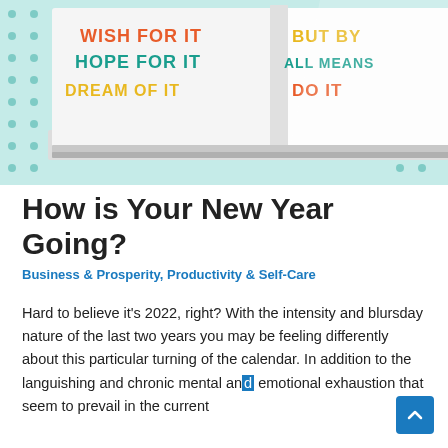[Figure (photo): Open book/journal showing colorful typographic text: 'WISH FOR IT, HOPE FOR IT, DREAM OF IT' on the left page and 'BUT BY ALL MEANS DO IT' on the right page, set against a teal polka-dot background.]
How is Your New Year Going?
Business & Prosperity, Productivity & Self-Care
Hard to believe it's 2022, right? With the intensity and blursday nature of the last two years you may be feeling differently about this particular turning of the calendar. In addition to the languishing and chronic mental and emotional exhaustion that seem to prevail in the current